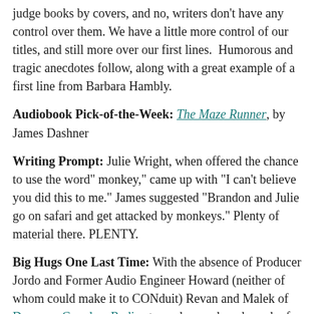judge books by covers, and no, writers don't have any control over them. We have a little more control of our titles, and still more over our first lines.  Humorous and tragic anecdotes follow, along with a great example of a first line from Barbara Hambly.
Audiobook Pick-of-the-Week: The Maze Runner, by James Dashner
Writing Prompt: Julie Wright, when offered the chance to use the word" monkey," came up with "I can't believe you did this to me." James suggested "Brandon and Julie go on safari and get attacked by monkeys." Plenty of material there. PLENTY.
Big Hugs One Last Time: With the absence of Producer Jordo and Former Audio Engineer Howard (neither of whom could make it to CONduit) Revan and Malek of Dungeon Crawlers Radio stepped up and made each of these last FIVE EPISODES of Writing Excuses possible. We owe them big-time, and you should go check out their podcast.